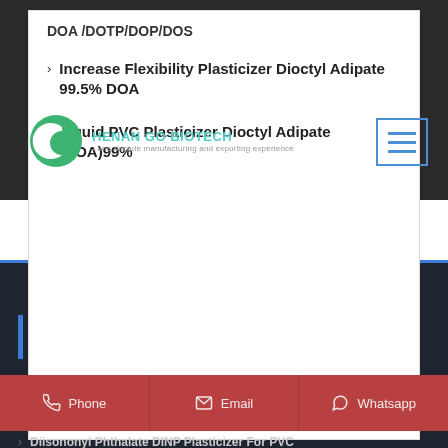DOA /DOTP/DOP/DOS
Increase Flexibility Plasticizer Dioctyl Adipate 99.5% DOA
Liquid PVC Plasticizer Dioctyl Adipate (DOA)99%
[Figure (logo): Henan Go Biotech company logo - green circle with white C shape, company name and tagline 'one decade manufacturing and exporting experience']
[Figure (screenshot): Hamburger menu button with three horizontal lines, blue border]
Our Products
Phone
Email
Whatsapp
Diisononyl Phthalate DINP Plasticizer For PVC